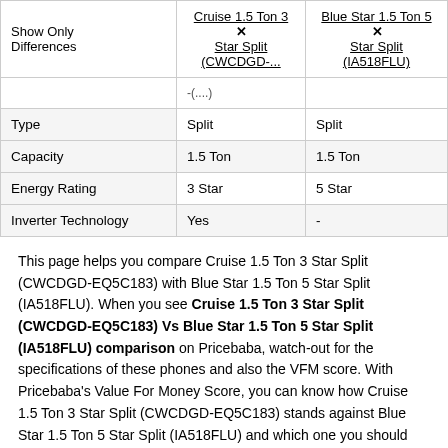| Show Only Differences | Cruise 1.5 Ton 3 Star Split (CWCDGD-... | Blue Star 1.5 Ton 5 Star Split (IA518FLU) |
| --- | --- | --- |
|  | -(....) |  |
| Type | Split | Split |
| Capacity | 1.5 Ton | 1.5 Ton |
| Energy Rating | 3 Star | 5 Star |
| Inverter Technology | Yes | - |
This page helps you compare Cruise 1.5 Ton 3 Star Split (CWCDGD-EQ5C183) with Blue Star 1.5 Ton 5 Star Split (IA518FLU). When you see Cruise 1.5 Ton 3 Star Split (CWCDGD-EQ5C183) Vs Blue Star 1.5 Ton 5 Star Split (IA518FLU) comparison on Pricebaba, watch-out for the specifications of these phones and also the VFM score. With Pricebaba's Value For Money Score, you can know how Cruise 1.5 Ton 3 Star Split (CWCDGD-EQ5C183) stands against Blue Star 1.5 Ton 5 Star Split (IA518FLU) and which one you should buy. The prices for both these products were updated September 2, 2022.